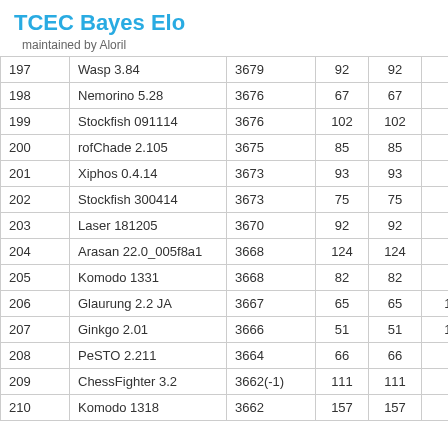TCEC Bayes Elo
maintained by Aloril
| # | Engine | Elo | col4 | col5 | col6 | col7 | col8 |
| --- | --- | --- | --- | --- | --- | --- | --- |
| 197 | Wasp 3.84 | 3679 | 92 | 92 | 29 | 48% | 3… |
| 198 | Nemorino 5.28 | 3676 | 67 | 67 | 62 | 36% | 37… |
| 199 | Stockfish 091114 | 3676 | 102 | 102 | 28 | 71% | 35… |
| 200 | rofChade 2.105 | 3675 | 85 | 85 | 34 | 46% | 36… |
| 201 | Xiphos 0.4.14 | 3673 | 93 | 93 | 28 | 57% | 36… |
| 202 | Stockfish 300414 | 3673 | 75 | 75 | 48 | 63% | 35… |
| 203 | Laser 181205 | 3670 | 92 | 92 | 28 | 46% | 36… |
| 204 | Arasan 22.0_005f8a1 | 3668 | 124 | 124 | 18 | 56% | 36… |
| 205 | Komodo 1331 | 3668 | 82 | 82 | 36 | 60% | 36… |
| 206 | Glaurung 2.2 JA | 3667 | 65 | 65 | 100 | 80% | 34… |
| 207 | Ginkgo 2.01 | 3666 | 51 | 51 | 120 | 55% | 36… |
| 208 | PeSTO 2.211 | 3664 | 66 | 66 | 64 | 34% | 37… |
| 209 | ChessFighter 3.2 | 3662(-1) | 111 | 111 | 23 | 30% | 37… |
| 210 | Komodo 1318 | 3662 | 157 | 157 | 13 | 81% | 34… |